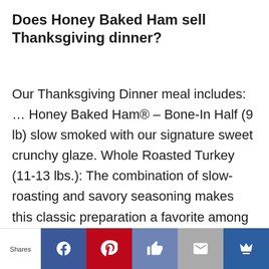Does Honey Baked Ham sell Thanksgiving dinner?
Our Thanksgiving Dinner meal includes: … Honey Baked Ham® – Bone-In Half (9 lb) slow smoked with our signature sweet crunchy glaze. Whole Roasted Turkey (11-13 lbs.): The combination of slow-roasting and savory seasoning makes this classic preparation a favorite among diners.
What ham should I buy for Christmas?
Shares [Facebook] [Pinterest] [Like] [Email] [Crown]